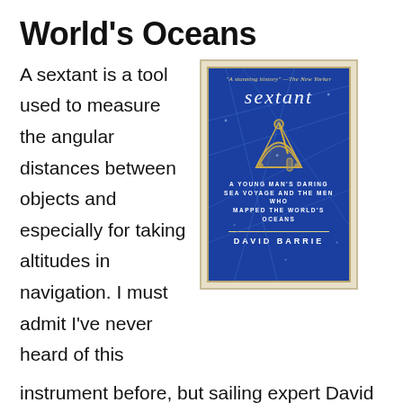World's Oceans
A sextant is a tool used to measure the angular distances between objects and especially for taking altitudes in navigation. I must admit I've never heard of this
[Figure (illustration): Book cover of 'Sextant: A Young Man's Daring Sea Voyage and the Men Who Mapped the World's Oceans' by David Barrie. Blue cover with gold sextant illustration and constellation lines. Review quote from The New Yorker at top.]
instrument before, but sailing expert David Barrie chronicles the history of the sextant and how it has saved the lives of many travelers over the years. The sextant also played a pivotal role in navigators' ability to